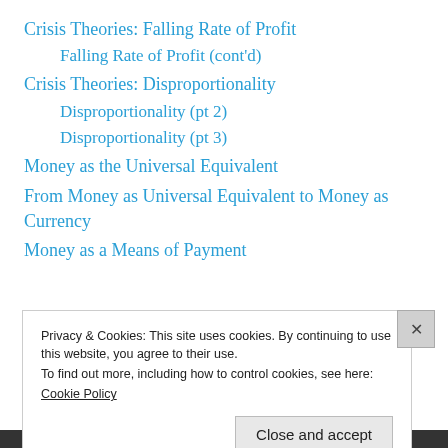Crisis Theories: Falling Rate of Profit
Falling Rate of Profit (cont'd)
Crisis Theories: Disproportionality
Disproportionality (pt 2)
Disproportionality (pt 3)
Money as the Universal Equivalent
From Money as Universal Equivalent to Money as Currency
Money as a Means of Payment
Privacy & Cookies: This site uses cookies. By continuing to use this website, you agree to their use.
To find out more, including how to control cookies, see here:
Cookie Policy
Close and accept